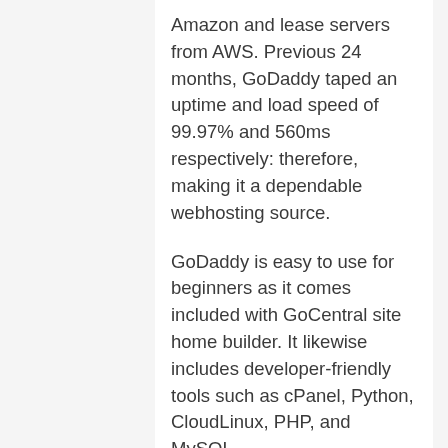Amazon and lease servers from AWS. Previous 24 months, GoDaddy taped an uptime and load speed of 99.97% and 560ms respectively: therefore, making it a dependable webhosting source.
GoDaddy is easy to use for beginners as it comes included with GoCentral site home builder. It likewise includes developer-friendly tools such as cPanel, Python, CloudLinux, PHP, and MySQL.
They have a low-cost strategy that goes for a regular monthly charge of $4.50 and a month-to-month renewal charge of $8.99. For sophisticated convenience, the webhosting plan comes including DDOS security, unmetered bandwidth, and a 100